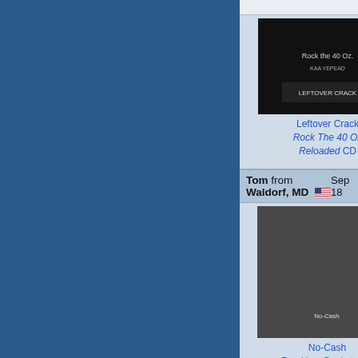[Figure (photo): Album cover for Leftover Crack - Rock The 40 Oz Reloaded CD]
Leftover Crack
Rock The 40 Oz Reloaded CD
good leftover crack but only for a tru check out no gods/no managers or fu
Tom from Waldorf, MD   Sep 18
[Figure (photo): Album cover for No-Cash - Run Your Pockets CD]
No-Cash
Run Your Pockets CD
no cash is a really good band its a s out record, more poppy than other c- cd
Joyce from Waldorf, MD   May 8
[Figure (photo): Album cover for Dropkick Murphys - Singles Collection, Vol. 2 CD]
Dropkick Murphys
Singles Collection, Vol. 2 CD
solid collection, just a few problems, covers of cock sparrer are great alon any kind of rock music DKM is the be
Joyce from Waldorf, MD   May 5
[Figure (photo): Album cover for Toxia DVD]
great dvd, great recording, great...